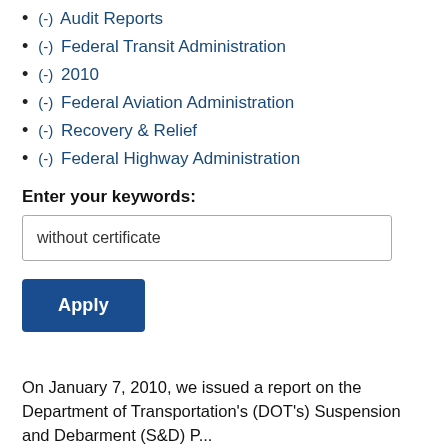(-) Audit Reports
(-) Federal Transit Administration
(-) 2010
(-) Federal Aviation Administration
(-) Recovery & Relief
(-) Federal Highway Administration
Enter your keywords:
without certificate
Apply
On January 7, 2010, we issued a report on the Department of Transportation's (DOT's) Suspension and Debarment (S&D) Program...